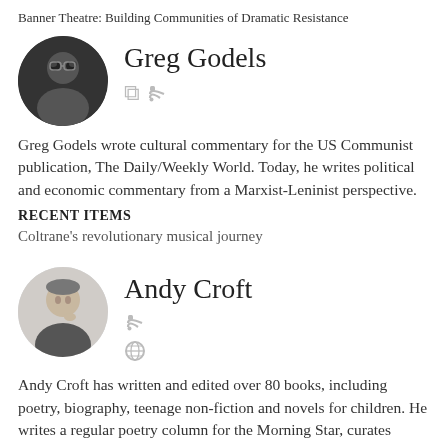Banner Theatre: Building Communities of Dramatic Resistance
[Figure (photo): Circular profile photo of Greg Godels, man in dark clothing against dark background]
Greg Godels
Greg Godels wrote cultural commentary for the US Communist publication, The Daily/Weekly World. Today, he writes political and economic commentary from a Marxist-Leninist perspective.
RECENT ITEMS
Coltrane's revolutionary musical journey
[Figure (photo): Circular profile photo of Andy Croft, man in suit with hand near face, black and white photo]
Andy Croft
Andy Croft has written and edited over 80 books, including poetry, biography, teenage non-fiction and novels for children. He writes a regular poetry column for the Morning Star, curates